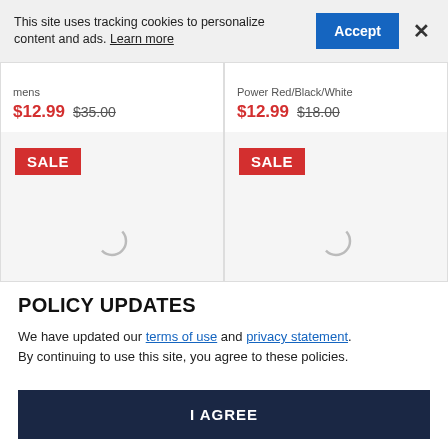This site uses tracking cookies to personalize content and ads. Learn more
Accept
×
mens
$12.99  $35.00
Power Red/Black/White
$12.99  $18.00
[Figure (other): Product card with red SALE badge and loading spinner on grey background]
[Figure (other): Product card with red SALE badge and loading spinner on grey background]
POLICY UPDATES
We have updated our terms of use and privacy statement. By continuing to use this site, you agree to these policies.
I AGREE